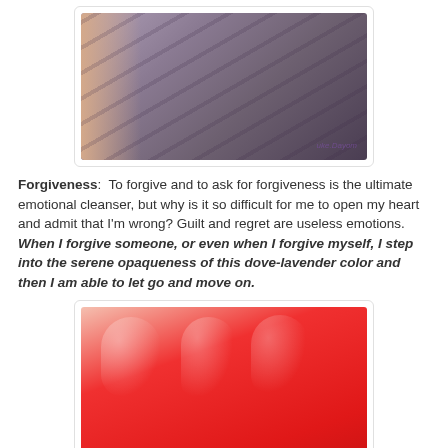[Figure (photo): Close-up photo of a nail polish bottle with dove-lavender/grey-purple color, held by a hand. Partial text visible on bottle. Watermark visible in lower right corner.]
Forgiveness:  To forgive and to ask for forgiveness is the ultimate emotional cleanser, but why is it so difficult for me to open my heart and admit that I'm wrong? Guilt and regret are useless emotions. When I forgive someone, or even when I forgive myself, I step into the serene opaqueness of this dove-lavender color and then I am able to let go and move on.
[Figure (photo): Close-up photo of a hand with bright red nail polish on all visible fingernails, holding what appears to be a red nail polish bottle with circular brand logo visible at the bottom.]